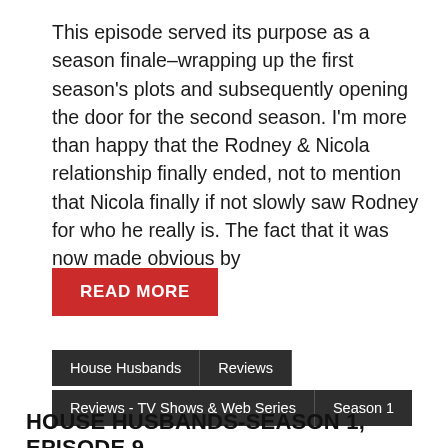This episode served its purpose as a season finale–wrapping up the first season's plots and subsequently opening the door for the second season. I'm more than happy that the Rodney & Nicola relationship finally ended, not to mention that Nicola finally if not slowly saw Rodney for who he really is. The fact that it was now made obvious by
READ MORE
House Husbands | Reviews
Reviews - TV Shows & Web Series | Season 1
HOUSE HUSBANDS-SEASON 1, EPISODE 9